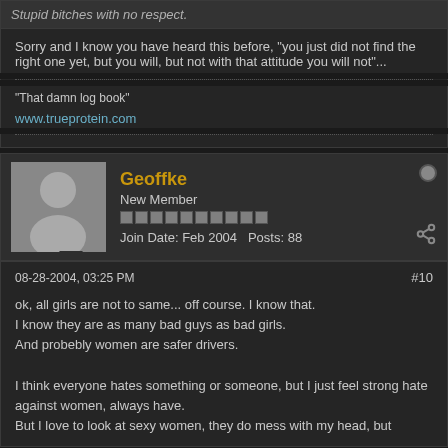Stupid bitches with no respect.
Sorry and I know you have heard this before, "you just did not find the right one yet, but you will, but not with that attitude you will not"...
"That damn log book"
www.trueprotein.com
Geoffke
New Member
Join Date: Feb 2004  Posts: 88
08-28-2004, 03:25 PM
#10
ok, all girls are not to same... off course. I know that.
I know they are as many bad guys as bad girls.
And probebly women are safer drivers.

I think everyone hates something or someone, but I just feel strong hate against women, always have.
But I love to look at sexy women, they do mess with my head, but